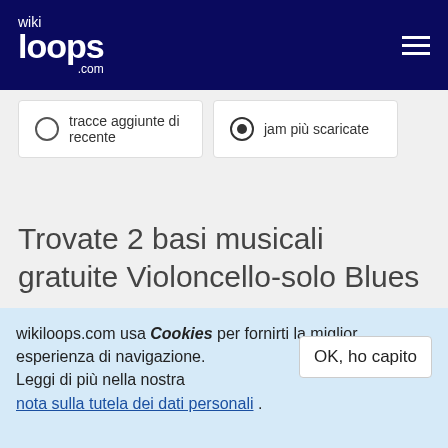wikiloops .com
tracce aggiunte di recente
jam più scaricate
Trovate 2 basi musicali gratuite Violoncello-solo Blues
cello easy bluesy
Base musicale Blues #103175
wikiloops.com usa i Cookies per fornirti la miglior esperienza di navigazione.
Leggi di più nella nostra nota sulla tutela dei dati personali .